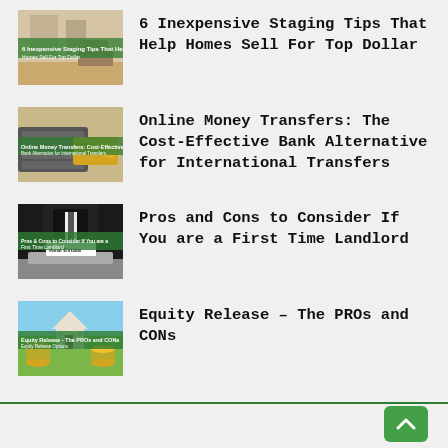[Figure (photo): Interior room staging photo with green banner overlay]
6 Inexpensive Staging Tips That Help Homes Sell For Top Dollar
[Figure (photo): Keyboard and credit card photo with green banner overlay]
Online Money Transfers: The Cost-Effective Bank Alternative for International Transfers
[Figure (photo): Person at desk with Real Estate label and green banner overlay]
Pros and Cons to Consider If You are a First Time Landlord
[Figure (photo): House figurine with coins and green banner overlay]
Equity Release – The PROs and CONs
↑